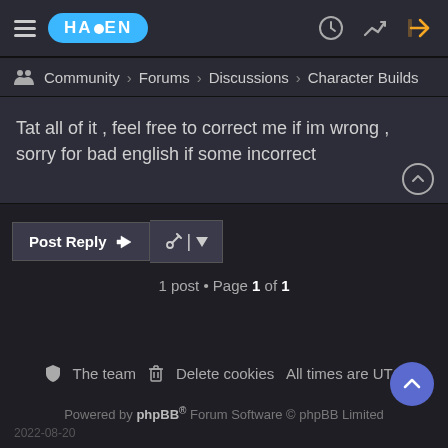HAVEN — navigation bar with hamburger menu, logo, clock icon, chart icon, login arrow icon
Community › Forums › Discussions › Character Builds
Tat all of it , feel free to correct me if im wrong , sorry for bad english if some incorrect
Post Reply  🔧 |▼
1 post • Page 1 of 1
🛡 The team  🗑 Delete cookies  All times are UTC
Powered by phpBB® Forum Software © phpBB Limited
2022-08-20